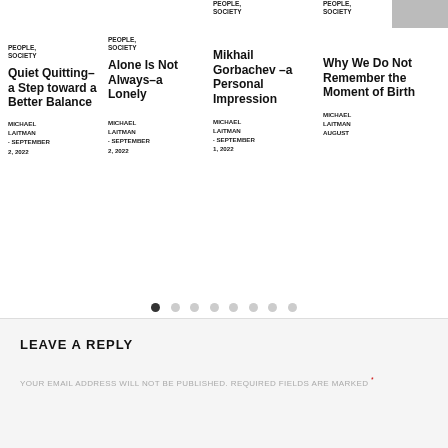[Figure (photo): Partial photo thumbnail in top right corner]
PEOPLE, SOCIETY
PEOPLE, SOCIETY
PEOPLE, SOCIETY
PEOPLE, SOCIETY
Quiet Quitting–a Step toward a Better Balance
Alone Is Not Always–a Lonely
Mikhail Gorbachev –a Personal Impression
Why We Do Not Remember the Moment of Birth
MICHAEL LAITMAN · SEPTEMBER 2, 2022
MICHAEL LAITMAN · SEPTEMBER 2, 2022
MICHAEL LAITMAN · SEPTEMBER 1, 2022
MICHAEL LAITMAN · AUGUST
LEAVE A REPLY
YOUR EMAIL ADDRESS WILL NOT BE PUBLISHED. REQUIRED FIELDS ARE MARKED *